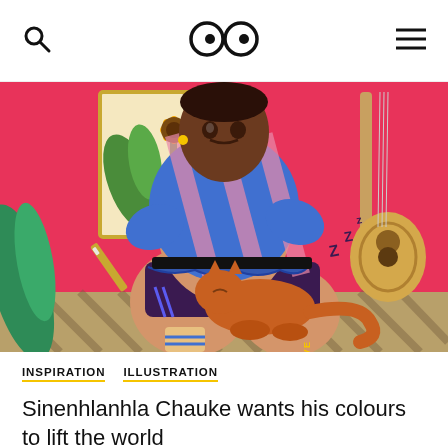Search | Eyekandy logo | Menu
[Figure (illustration): Colorful digital illustration showing a dark-skinned man seated, wearing a blue and pink striped top and patterned shorts, holding a sleeping orange cat. Background is bright pink with a sunflower painting and an acoustic guitar. Text reads '99 PERSPECTIVE' and 'ZZZ' near the cat.]
INSPIRATION
ILLUSTRATION
Sinenhlanhla Chauke wants his colours to lift the world
6 November 2020